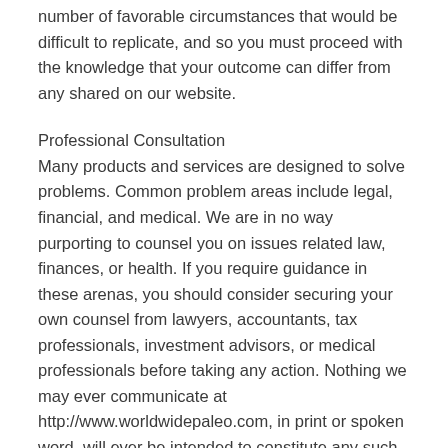number of favorable circumstances that would be difficult to replicate, and so you must proceed with the knowledge that your outcome can differ from any shared on our website.
Professional Consultation
Many products and services are designed to solve problems. Common problem areas include legal, financial, and medical. We are in no way purporting to counsel you on issues related law, finances, or health. If you require guidance in these arenas, you should consider securing your own counsel from lawyers, accountants, tax professionals, investment advisors, or medical professionals before taking any action. Nothing we may ever communicate at http://www.worldwidepaleo.com, in print or spoken word, will ever be intended to constitute any such counsel, as we do not claim to be professionals in any of those disciplines. You assume all risk for actions taken, losses incurred, damages sustained, or other issues stemming from your use of any product or